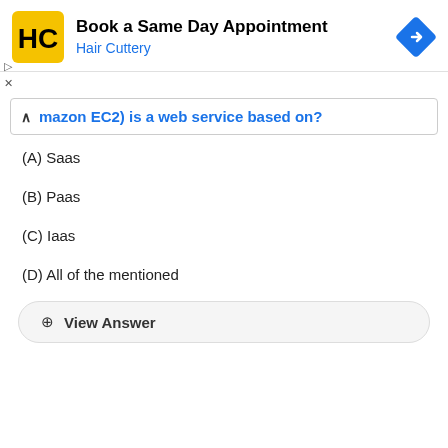[Figure (other): Advertisement banner for Hair Cuttery: 'Book a Same Day Appointment' with logo and navigation icon]
mazon EC2) is a web service based on?
(A) Saas
(B) Paas
(C) Iaas
(D) All of the mentioned
View Answer